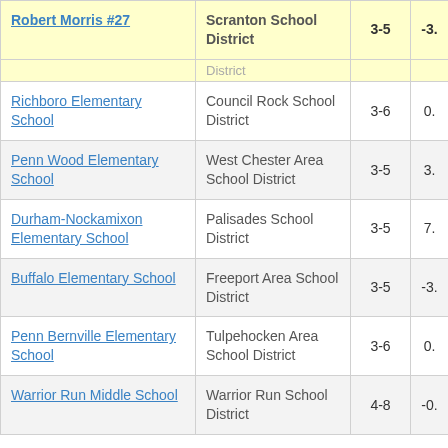| School | District | Grades | Score |
| --- | --- | --- | --- |
| Robert Morris #27 | Scranton School District | 3-5 | -3. |
|  | District |  |  |
| Richboro Elementary School | Council Rock School District | 3-6 | 0. |
| Penn Wood Elementary School | West Chester Area School District | 3-5 | 3. |
| Durham-Nockamixon Elementary School | Palisades School District | 3-5 | 7. |
| Buffalo Elementary School | Freeport Area School District | 3-5 | -3. |
| Penn Bernville Elementary School | Tulpehocken Area School District | 3-6 | 0. |
| Warrior Run Middle School | Warrior Run School District | 4-8 | -0. |